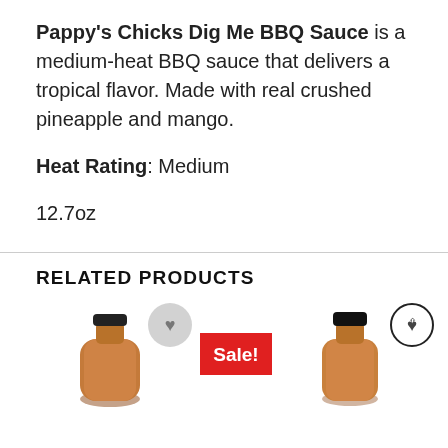Pappy's Chicks Dig Me BBQ Sauce is a medium-heat BBQ sauce that delivers a tropical flavor. Made with real crushed pineapple and mango.
Heat Rating: Medium
12.7oz
RELATED PRODUCTS
[Figure (photo): Two BBQ sauce bottles with wishlist icons and a Sale! badge]